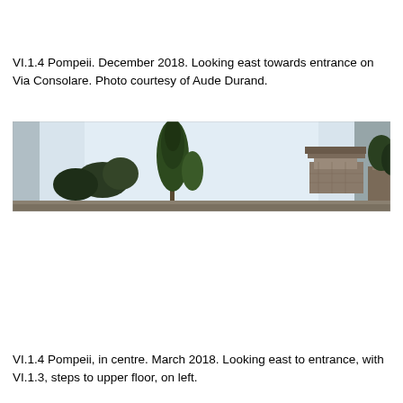VI.1.4 Pompeii. December 2018. Looking east towards entrance on Via Consolare. Photo courtesy of Aude Durand.
[Figure (photo): Wide panoramic photograph looking east towards the entrance of VI.1.4 Pompeii on Via Consolare. Shows a tall cypress tree on the left side against a pale overcast sky, and ancient stone ruins with a flat-topped structure on the right side.]
VI.1.4 Pompeii, in centre. March 2018. Looking east to entrance, with VI.1.3, steps to upper floor, on left.